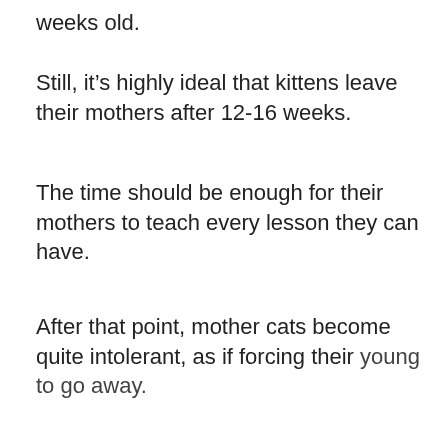weeks old.
Still, it's highly ideal that kittens leave their mothers after 12-16 weeks.
The time should be enough for their mothers to teach every lesson they can have.
After that point, mother cats become quite intolerant, as if forcing their young to go away.